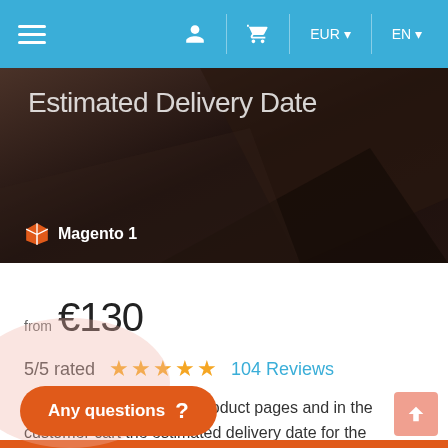Navigation bar with hamburger menu, user icon, cart icon, EUR currency selector, EN language selector
[Figure (screenshot): Hero banner with dark brown/black gradient background showing geometric angular shapes, with text 'Estimated Delivery Date' and Magento 1 badge]
from €130
5/5 rated ★★★★★ 104 Reviews
Display on the Magento product pages and in the customer cart the estimated delivery date for the available products and for the backorders with a configurable message.